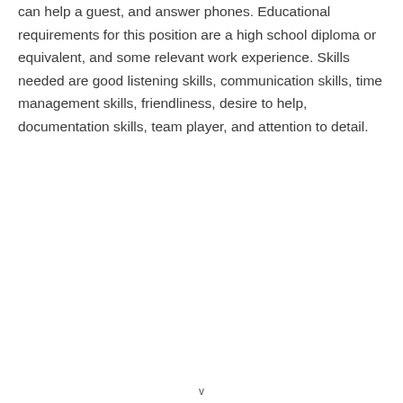can help a guest, and answer phones. Educational requirements for this position are a high school diploma or equivalent, and some relevant work experience. Skills needed are good listening skills, communication skills, time management skills, friendliness, desire to help, documentation skills, team player, and attention to detail.
v